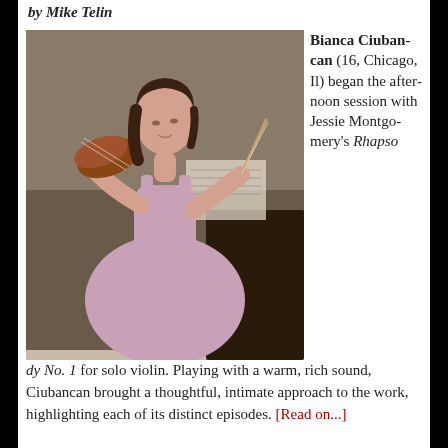by Mike Telin
[Figure (photo): A young girl (Bianca Ciubancan) in a lavender dress playing violin on stage, with sheet music visible in the background.]
Bianca Ciubancan (16, Chicago, Il) began the afternoon session with Jessie Montgomery's Rhapsody No. 1 for solo violin. Playing with a warm, rich sound, Ciubancan brought a thoughtful, intimate approach to the work, highlighting each of its distinct episodes. [Read on...]